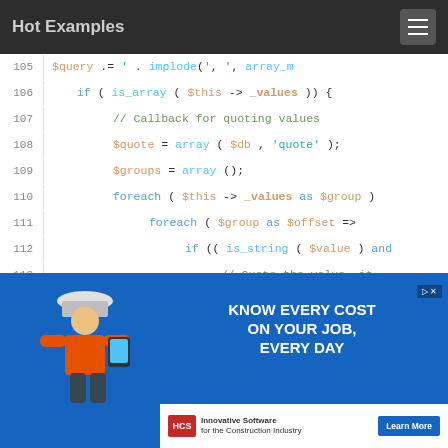Hot Examples
[Figure (screenshot): Code viewer showing PHP code lines 105-119 with syntax highlighting. Line 114 is highlighted in green. Code shows array handling with foreach loops, is_array, is_string checks, and implode calls.]
[Figure (infographic): Advertisement banner: KNOW EVERY COST ON YOUR JOB, EVERY DAY. Innovative Software for the Construction Industry. Learn More button.]